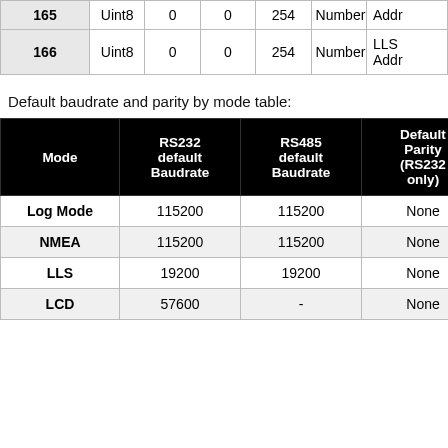|  | Type | Default | Min | Max | Format | Description |
| --- | --- | --- | --- | --- | --- | --- |
| 165 | Uint8 | 0 | 0 | 254 | Number | Addr… |
| 166 | Uint8 | 0 | 0 | 254 | Number | LLS Addr… |
Default baudrate and parity by mode table:
| Mode | RS232 default Baudrate | RS485 default Baudrate | Default Parity (RS232 only) |
| --- | --- | --- | --- |
| Log Mode | 115200 | 115200 | None |
| NMEA | 115200 | 115200 | None |
| LLS | 19200 | 19200 | None |
| LCD | 57600 | - | None |